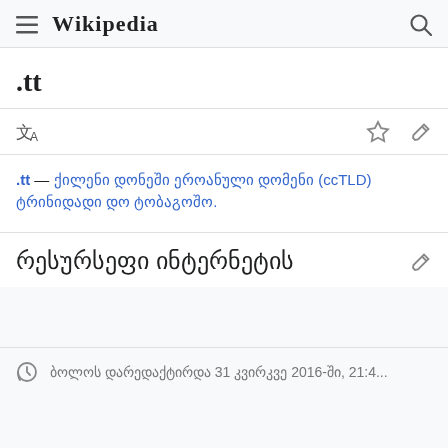≡ WIKIPEDIA 🔍
.tt
文A
.tt — ქილენი დონეში ეროანული დომენი (ccTLD) ტრინიდადი დო ტობაგოშო.
რესურსეფი ინტერნეტის
ბოლოს დარედაქტირდა 31 კვირکვე 2016-ში, 21:4...